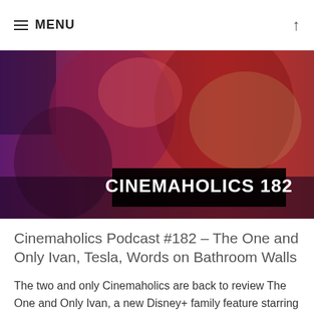≡ MENU
[Figure (photo): A purple-red duotone photograph of people, with a black banner overlay reading 'CINEMAHOLICS 182' in bold white capital letters.]
Cinemaholics Podcast #182 – The One and Only Ivan, Tesla, Words on Bathroom Walls
The two and only Cinemaholics are back to review The One and Only Ivan, a new Disney+ family feature starring Bryan Cranston, Sam Rockwell, Danny DeVito, Angelina Jolie, and many more. We also go back in time in a fun way with our discussion of Tesla, the Sundance biopic from IFC Films starring Ethan Hawke and...